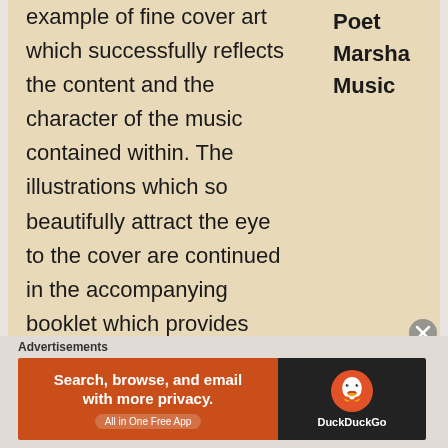example of fine cover art which successfully reflects the content and the character of the music contained within. The illustrations which so beautifully attract the eye to the cover are continued in the accompanying booklet which provides concise notes which place the music in the context of the composers' various intent and processes as well as the nearly cinematic efforts made to represent the intended content of each piece. Though neither the poet nor the illustrator are known to this writer it is reasonable to assume that we will see/hear from them again. That would be my wish
Poet
Marsha
Music
Advertisements
[Figure (screenshot): DuckDuckGo advertisement banner: orange left section with text 'Search, browse, and email with more privacy. All in One Free App' and dark right section with DuckDuckGo logo and name]